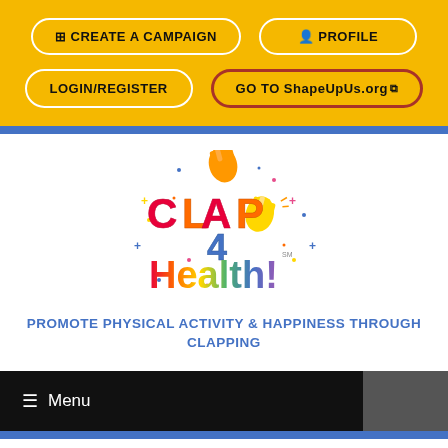[Figure (screenshot): Yellow header navigation area with buttons: CREATE A CAMPAIGN, PROFILE, LOGIN/REGISTER, GO TO ShapeUpUs.org]
[Figure (logo): Clap 4 Health! colorful logo with hands clapping and decorative lettering]
PROMOTE PHYSICAL ACTIVITY & HAPPINESS THROUGH CLAPPING
≡ Menu